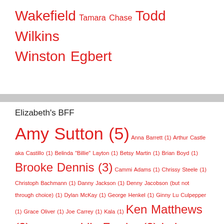Wakefield Tamara Chase Todd Wilkins Winston Egbert
Elizabeth's BFF
Amy Sutton (5) Anna Barrett (1) Arthur Castle aka Castillo (1) Belinda "Billie" Layton (1) Betsy Martin (1) Brian Boyd (1) Brooke Dennis (3) Cammi Adams (1) Chrissy Steele (1) Christoph Bachmann (1) Danny Jackson (1) Denny Jacobson (but not through choice) (1) Dylan McKay (1) George Henkel (1) Ginny Lu Culpepper (1) Grace Oliver (1) Joe Carrey (1) Kala (1) Ken Matthews (2) Leslie Forsythe (1) Lila Fowler (2) Lois Waller (2) Lucy Benson (1) Mandy Miller (1) Maria